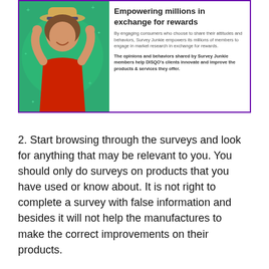[Figure (illustration): Survey Junkie promotional card with a smiling woman in a red top and hat on a green background on the left, and text on the right reading 'Empowering millions in exchange for rewards' with two paragraphs about Survey Junkie's market research platform.]
2. Start browsing through the surveys and look for anything that may be relevant to you. You should only do surveys on products that you have used or know about. It is not right to complete a survey with false information and besides it will not help the manufactures to make the correct improvements on their products.